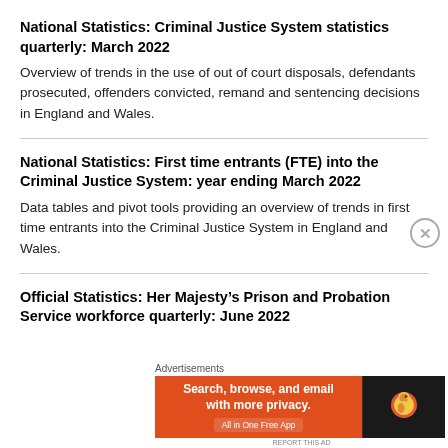National Statistics: Criminal Justice System statistics quarterly: March 2022
Overview of trends in the use of out of court disposals, defendants prosecuted, offenders convicted, remand and sentencing decisions in England and Wales.
National Statistics: First time entrants (FTE) into the Criminal Justice System: year ending March 2022
Data tables and pivot tools providing an overview of trends in first time entrants into the Criminal Justice System in England and Wales.
Official Statistics: Her Majesty’s Prison and Probation Service workforce quarterly: June 2022
Advertisements
[Figure (other): DuckDuckGo advertisement banner: orange background with text 'Search, browse, and email with more privacy. All in One Free App' alongside DuckDuckGo logo on dark background.]